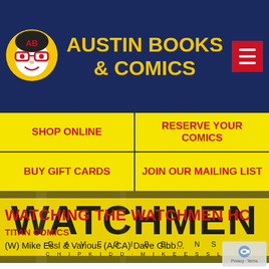Austin Books & Comics
SHOP ONLINE
RESERVE YOUR COMICS
BUY GIFT CARDS
JOIN OUR MAILING LIST
[Figure (photo): Cover of Watching the Watchmen HC book by Dave Gibbons, Chip Kidd, Mike Essl - yellow cover with large WATCHMEN text]
WATCHING THE WATCHMEN HC
TITAN COMICS
(W) Mike Essl & Various (A/CA) Dave Gibbons